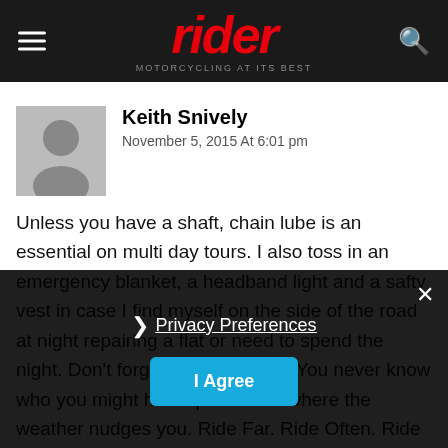rider — MOTORCYCLING AT ITS BEST
Keith Snively
November 5, 2015 At 6:01 pm
Unless you have a shaft, chain lube is an essential on multi day tours. I also toss in an emergency blanket, a headband light and a safty vest in case I find myself on the side of the road at night repairing a flat or need to spend the night. Don't forget your passport. You never know who you might hookup with and where the weather nudges you. Ride Far. Ride Often. Ride Safe.
Reply
Privacy Preferences
I Agree